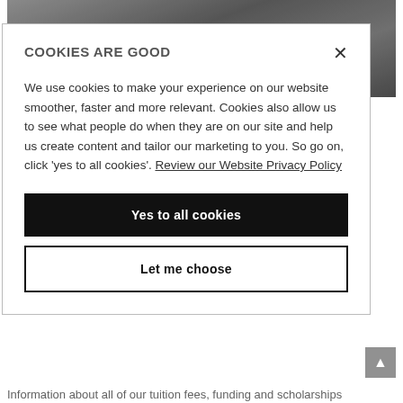[Figure (photo): Black and white photo of a crowd of people, partially obscured, serving as a hero image for the Northumbria Open Days page. A circular button with a plus sign overlaps the bottom center of the image.]
Northumbria Open Days
Open Days are a great way for you to get a feel of the University,
COOKIES ARE GOOD

We use cookies to make your experience on our website smoother, faster and more relevant. Cookies also allow us to see what people do when they are on our site and help us create content and tailor our marketing to you. So go on, click 'yes to all cookies'. Review our Website Privacy Policy

Yes to all cookies

Let me choose
Information about all of our tuition fees, funding and scholarships